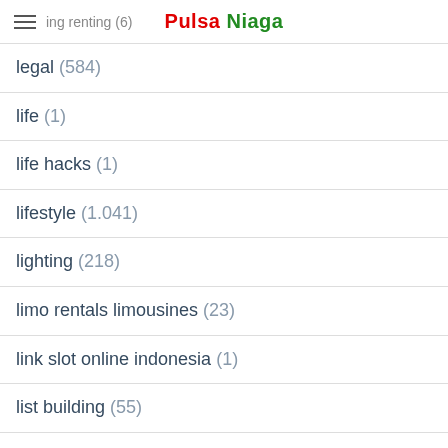ing renting (6) | Pulsa Niaga
legal (584)
life (1)
life hacks (1)
lifestyle (1.041)
lighting (218)
limo rentals limousines (23)
link slot online indonesia (1)
list building (55)
Live chat poker (10)
Live Draw (1)